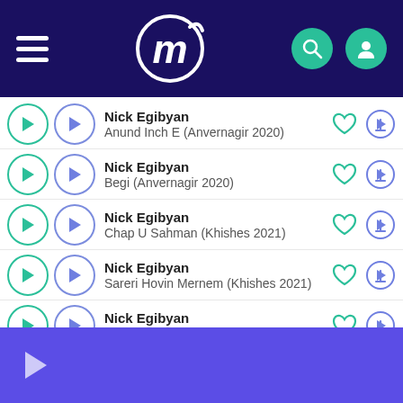[Figure (screenshot): App header with hamburger menu, logo M in circle, search icon (teal), and user profile icon (teal)]
Nick Egibyan — Anund Inch E (Anvernagir 2020)
Nick Egibyan — Begi (Anvernagir 2020)
Nick Egibyan — Chap U Sahman (Khishes 2021)
Nick Egibyan — Sareri Hovin Mernem (Khishes 2021)
Nick Egibyan — Mi Artnacreq (Khishes 2021)
[Figure (screenshot): Bottom player bar in purple/violet with a play button icon]